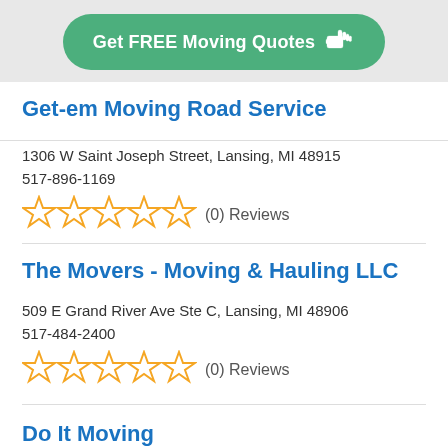[Figure (other): Green rounded button with white bold text 'Get FREE Moving Quotes' and a hand/pointing finger icon on the right, on a light grey background banner]
Get-em Moving Road Service
1306 W Saint Joseph Street, Lansing, MI 48915
517-896-1169
(0) Reviews
The Movers - Moving & Hauling LLC
509 E Grand River Ave Ste C, Lansing, MI 48906
517-484-2400
(0) Reviews
Do It Moving
1014 White St, Lansing, MI 48906